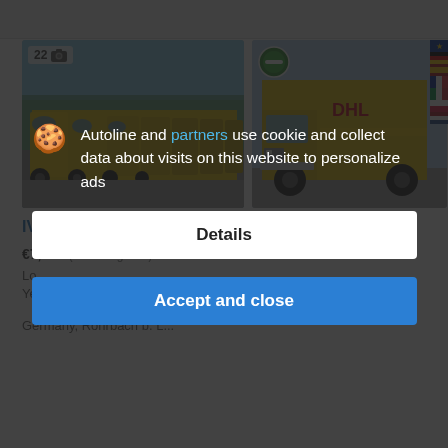[Figure (photo): Two yellow IVECO delivery vans: left photo shows a row of many yellow vans parked in a lot with a photo count badge '22' and camera icon; right photo shows a single yellow IVECO box truck with DHL branding, with a green environmental badge overlay and flag strip on right edge.]
IVECO Daily 35 S11 KAMERA MAXI Regale LUFT
€7,900 (excluding VAT)
Location: ...
Year: 200...
Germany, Rohrbach b. L...
Autoline and partners use cookie and collect data about visits on this website to personalize ads
Details
Accept and close